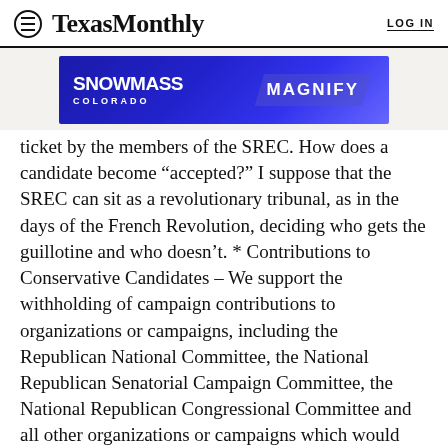Texas Monthly | LOG IN
[Figure (other): Snowmass Colorado Magnify advertisement banner with blue gradient background]
ticket by the members of the SREC. How does a candidate become “accepted?” I suppose that the SREC can sit as a revolutionary tribunal, as in the days of the French Revolution, deciding who gets the guillotine and who doesn’t. * Contributions to Conservative Candidates – We support the withholding of campaign contributions to organizations or campaigns, including the Republican National Committee, the National Republican Senatorial Campaign Committee, the National Republican Congressional Committee and all other organizations or campaigns which would